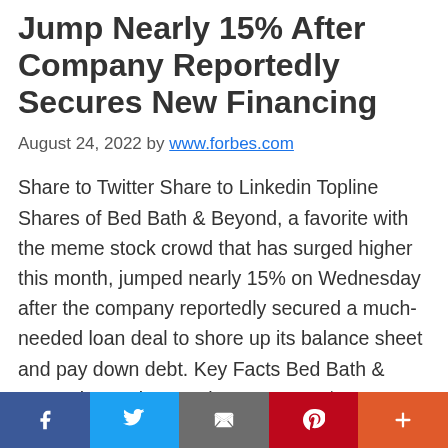Jump Nearly 15% After Company Reportedly Secures New Financing
August 24, 2022 by www.forbes.com
Share to Twitter Share to Linkedin Topline Shares of Bed Bath & Beyond, a favorite with the meme stock crowd that has surged higher this month, jumped nearly 15% on Wednesday after the company reportedly secured a much-needed loan deal to shore up its balance sheet and pay down debt. Key Facts Bed Bath & Beyond's stock rose almost 15% to $10 per share, rebounding from last week's losses as investors cheered a report from